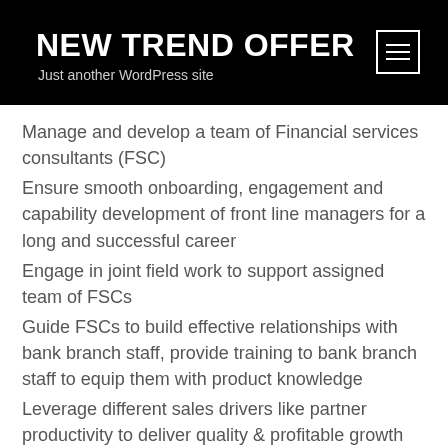NEW TREND OFFER
Just another WordPress site
Manage and develop a team of Financial services consultants (FSC)
Ensure smooth onboarding, engagement and capability development of front line managers for a long and successful career
Engage in joint field work to support assigned team of FSCs
Guide FSCs to build effective relationships with bank branch staff, provide training to bank branch staff to equip them with product knowledge
Leverage different sales drivers like partner productivity to deliver quality & profitable growth
Help, support and guide team members in achieving their